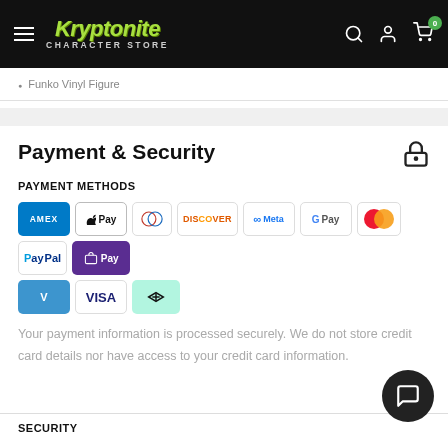Kryptonite Character Store
Funko Vinyl Figure
Payment & Security
PAYMENT METHODS
[Figure (logo): Payment method logos: American Express, Apple Pay, Diners Club, Discover, Meta Pay, Google Pay, Mastercard, PayPal, Shop Pay, Venmo, Visa, Afterpay]
Your payment information is processed securely. We do not store credit card details nor have access to your credit card information.
SECURITY